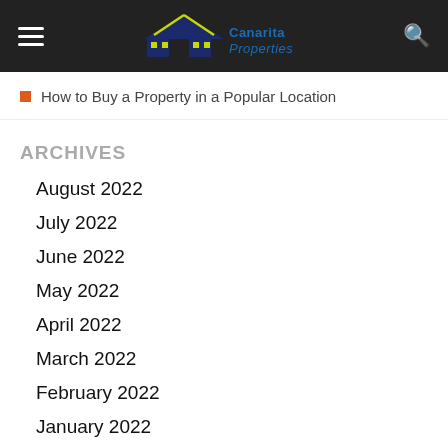Canarita Properties
How to Buy a Property in a Popular Location
ARCHIVES
August 2022
July 2022
June 2022
May 2022
April 2022
March 2022
February 2022
January 2022
December 2021